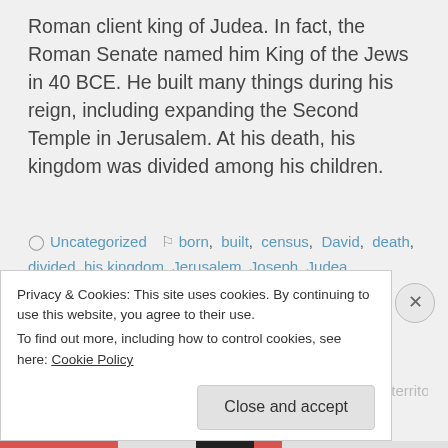Roman client king of Judea. In fact, the Roman Senate named him King of the Jews in 40 BCE. He built many things during his reign, including expanding the Second Temple in Jerusalem. At his death, his kingdom was divided among his children.
Uncategorized   born, built, census, David, death, divided, his kingdom, Jerusalem, Joseph, Judea, King Herod the Great, King of the Jews, Luke, Mary, Matthew, miles, Palestinian territory, place, reign of King Herod, Roman client king, Roman Senate, Second Temple, specific time, territory,
Privacy & Cookies: This site uses cookies. By continuing to use this website, you agree to their use.
To find out more, including how to control cookies, see here: Cookie Policy
Close and accept